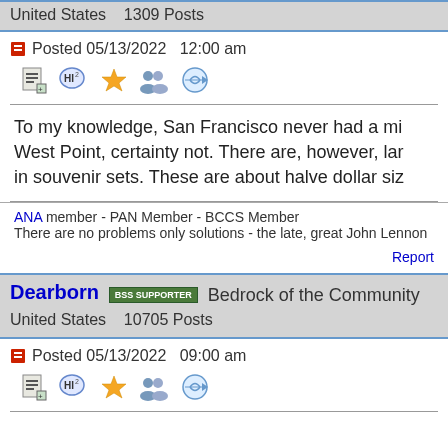United States   1309 Posts
Posted 05/13/2022  12:00 am
To my knowledge, San Francisco never had a mi... West Point, certainty not. There are, however, lar... in souvenir sets. These are about halve dollar siz...
ANA member - PAN Member - BCCS Member
There are no problems only solutions - the late, great John Lennon
Report
Dearborn  BSS SUPPORTER  Bedrock of the Community
United States   10705 Posts
Posted 05/13/2022  09:00 am